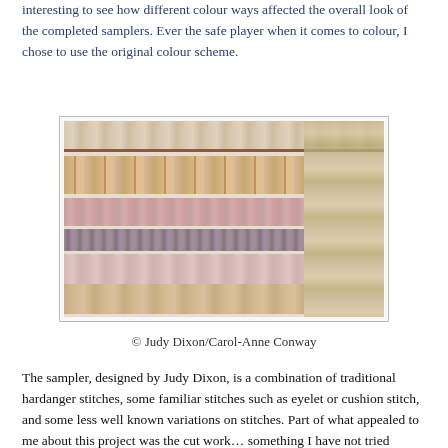interesting to see how different colour ways affected the overall look of the completed samplers. Ever the safe player when it comes to colour, I chose to use the original colour scheme.
[Figure (photo): Close-up photograph of a needlework sampler showing various hardanger and embroidery stitches in muted pink, beige, cream, brown and olive tones on canvas mesh fabric.]
© Judy Dixon/Carol-Anne Conway
The sampler, designed by Judy Dixon, is a combination of traditional hardanger stitches, some familiar stitches such as eyelet or cushion stitch, and some less well known variations on stitches. Part of what appealed to me about this project was the cut work… something I have not tried before. I did